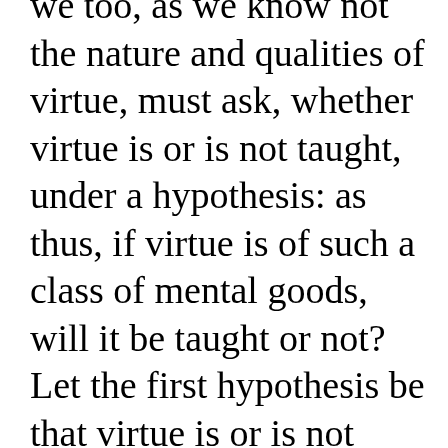we too, as we know not the nature and qualities of virtue, must ask, whether virtue is or is not taught, under a hypothesis: as thus, if virtue is of such a class of mental goods, will it be taught or not? Let the first hypothesis be that virtue is or is not knowledge,—in that case will it be taught or not? or, as we were just now saying, 'remembered'? For there is no